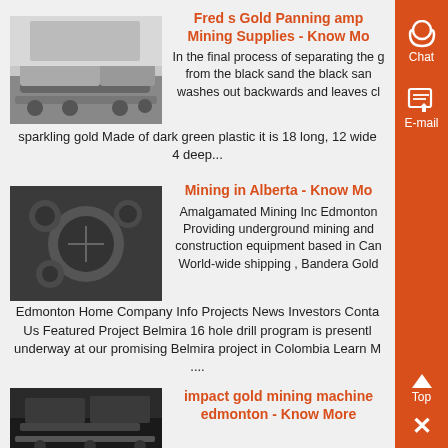[Figure (photo): Mining truck/equipment on a flatbed trailer, industrial setting]
Fred s Gold Panning amp Mining Supplies - Know Mo
In the final process of separating the g from the black sand the black san washes out backwards and leaves cl sparkling gold Made of dark green plastic it is 18 long, 12 wide 4 deep...
[Figure (photo): Close-up of a dark metal plate with circular holes/indentations]
Mining in Alberta - Know Mo
Amalgamated Mining Inc Edmonton Providing underground mining and construction equipment based in Can World-wide shipping , Bandera Gold Edmonton Home Company Info Projects News Investors Conta Us Featured Project Belmira 16 hole drill program is presentl underway at our promising Belmira project in Colombia Learn M ....
[Figure (photo): Industrial gold mining machine equipment in a facility]
impact gold mining machine edmonton - Know More